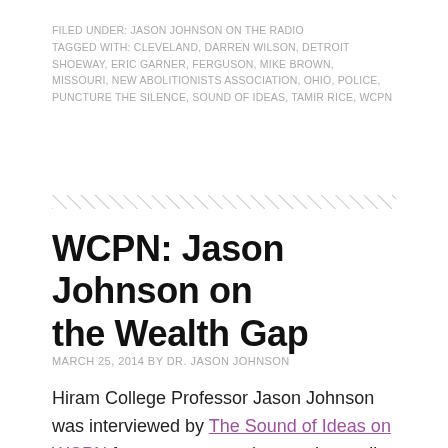FILED UNDER: JASON JOHNSON ON THE RADIO
TAGGED WITH: CLEVELAND, DARREN WILSON, DETROIT SHOEWAY, ERIC GARNER, FERGUSON, MIKE BROWN, MISSOURI, NEW ABOLITIONISTS ASSOCIATION, OHIO, POLICE, PUNCTURE THE SILENCE, SOUND OF IDEAS, TAMIR RICE, WCPN
WCPN: Jason Johnson on the Wealth Gap
MARCH 25, 2014 BY DR. JASON JOHNSON
Hiram College Professor Jason Johnson was interviewed by The Sound of Ideas on WCPN for a segment on income inequality.